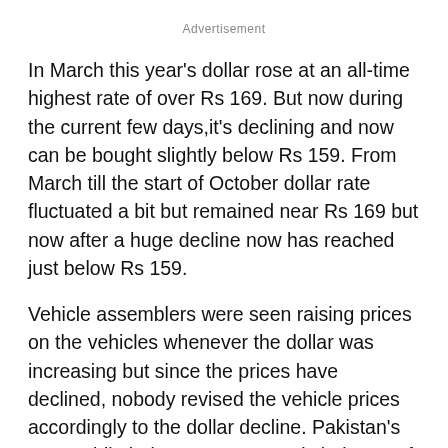Advertisement
In March this year's dollar rose at an all-time highest rate of over Rs 169. But now during the current few days,it's declining and now can be bought slightly below Rs 159. From March till the start of October dollar rate fluctuated a bit but remained near Rs 169 but now after a huge decline now has reached just below Rs 159.
Vehicle assemblers were seen raising prices on the vehicles whenever the dollar was increasing but since the prices have declined, nobody revised the vehicle prices accordingly to the dollar decline. Pakistan's automobile industry veteran and chairman of All Pakistan Motorcycle Assemblers